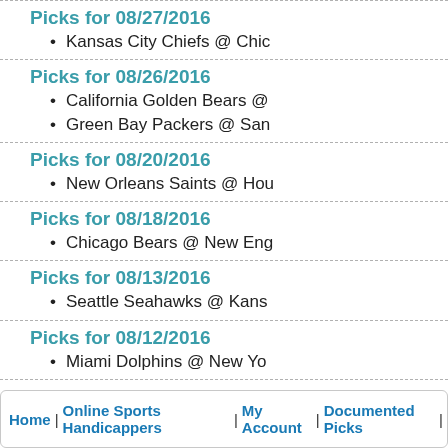Picks for 08/27/2016
Kansas City Chiefs @ Chic
Picks for 08/26/2016
California Golden Bears @
Green Bay Packers @ San
Picks for 08/20/2016
New Orleans Saints @ Hou
Picks for 08/18/2016
Chicago Bears @ New Eng
Picks for 08/13/2016
Seattle Seahawks @ Kans
Picks for 08/12/2016
Miami Dolphins @ New Yo
Picks for 02/07/2016
Carolina Panthers @ Denv
Home | Online Sports Handicappers | My Account | Documented Picks |